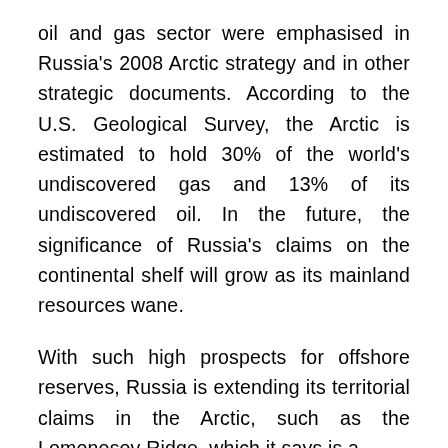oil and gas sector were emphasised in Russia's 2008 Arctic strategy and in other strategic documents. According to the U.S. Geological Survey, the Arctic is estimated to hold 30% of the world's undiscovered gas and 13% of its undiscovered oil. In the future, the significance of Russia's claims on the continental shelf will grow as its mainland resources wane.
With such high prospects for offshore reserves, Russia is extending its territorial claims in the Arctic, such as the Lomonosov Ridge, which it says is a